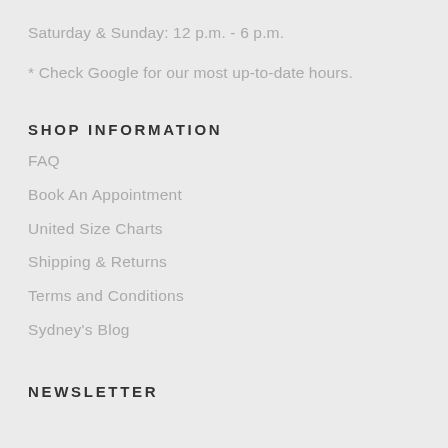Saturday & Sunday: 12 p.m. - 6 p.m.
* Check Google for our most up-to-date hours.
SHOP INFORMATION
FAQ
Book An Appointment
United Size Charts
Shipping & Returns
Terms and Conditions
Sydney's Blog
NEWSLETTER